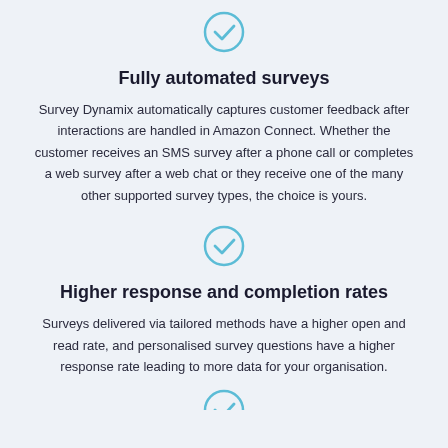[Figure (illustration): Blue circle with a checkmark icon]
Fully automated surveys
Survey Dynamix automatically captures customer feedback after interactions are handled in Amazon Connect. Whether the customer receives an SMS survey after a phone call or completes a web survey after a web chat or they receive one of the many other supported survey types, the choice is yours.
[Figure (illustration): Blue circle with a checkmark icon]
Higher response and completion rates
Surveys delivered via tailored methods have a higher open and read rate, and personalised survey questions have a higher response rate leading to more data for your organisation.
[Figure (illustration): Blue circle with a checkmark icon (partially visible at bottom)]